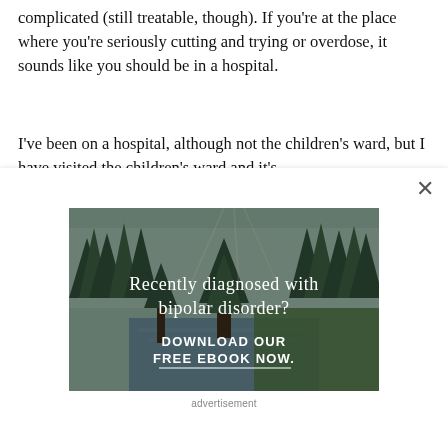complicated (still treatable, though). If you're at the place where you're seriously cutting and trying or overdose, it sounds like you should be in a hospital.
I've been on a hospital, although not the children's ward, but I have visited the children's ward and it's
[Figure (photo): Forest and river landscape photo with text overlay reading 'Recently diagnosed with bipolar disorder? DOWNLOAD OUR FREE EBOOK NOW.']
advertisement